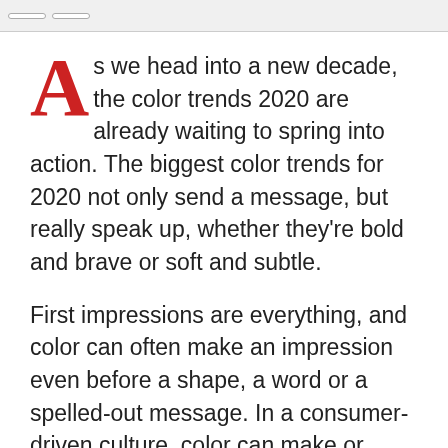As we head into a new decade, the color trends 2020 are already waiting to spring into action. The biggest color trends for 2020 not only send a message, but really speak up, whether they’re bold and brave or soft and subtle.
First impressions are everything, and color can often make an impression even before a shape, a word or a spelled-out message. In a consumer-driven culture, color can make or breake a brand persona. While some classic color palettes are here to stay, there are many